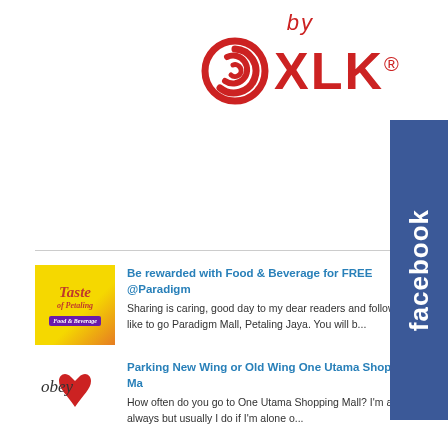[Figure (logo): XLK brand logo with spiral icon, text 'by XLK' in red with registered trademark symbol]
[Figure (logo): Facebook tab/button in blue on right side with text 'facebook' written vertically]
Be rewarded with Food & Beverage for FREE @Paradigm - Sharing is caring, good day to my dear readers and follow who like to go Paradigm Mall, Petaling Jaya. You will b...
Parking New Wing or Old Wing One Utama Shopping Ma - How often do you go to One Utama Shopping Mall? I'm al mean always but usually I do if I'm alone o...
Tips For Choosing A Boarding Stable You Can Trust